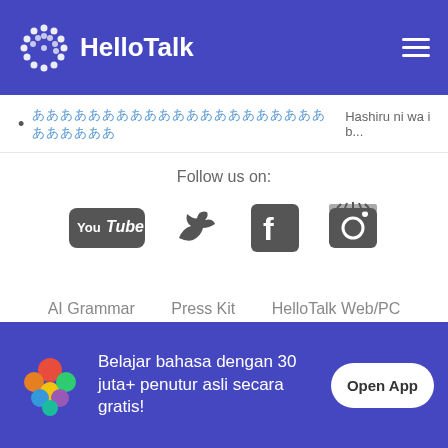HelloTalk
あああああああああああああああああああああああああああ Hashiru ni wa i b...
Follow us on:
[Figure (logo): Social media icons: YouTube, Twitter, Facebook, Instagram]
AI Grammar   Press Kit   HelloTalk Web/PC   Language Partners   Jobs   Blog   About
Belajar bahasa dengan 30 juta+ penutur asli secara gratis!